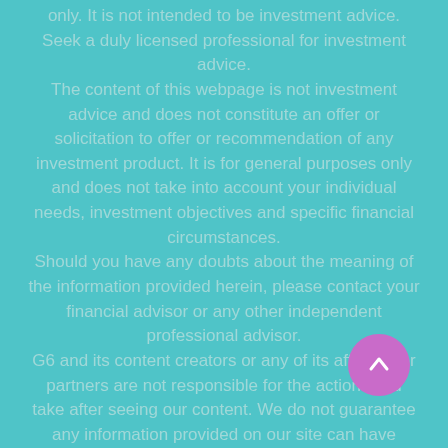only. It is not intended to be investment advice. Seek a duly licensed professional for investment advice. The content of this webpage is not investment advice and does not constitute an offer or solicitation to offer or recommendation of any investment product. It is for general purposes only and does not take into account your individual needs, investment objectives and specific financial circumstances. Should you have any doubts about the meaning of the information provided herein, please contact your financial advisor or any other independent professional advisor. G6 and its content creators or any of its affiliates or partners are not responsible for the actions you take after seeing our content. We do not guarantee any information provided on our site can have promised outcome. All authors are expressing their opinions freely and we are not filtering any of its content. Their opinions about the outcome might not be true and should not be considered true. Do your own research!
[Figure (other): A circular purple button with a white upward arrow icon (scroll-to-top button), positioned in the lower right area of the page.]